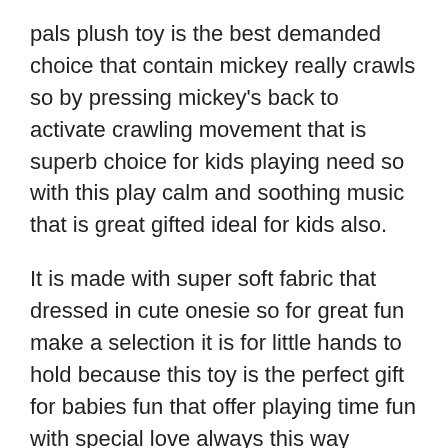pals plush toy is the best demanded choice that contain mickey really crawls so by pressing mickey's back to activate crawling movement that is superb choice for kids playing need so with this play calm and soothing music that is great gifted ideal for kids also.
It is made with super soft fabric that dressed in cute onesie so for great fun make a selection it is for little hands to hold because this toy is the perfect gift for babies fun that offer playing time fun with special love always this way choose for ideal fun all the time at anywhere.
Main Features:
Great Size: This toy provide great crawl with fun feel so for ideal pleasure choose this crawling toy for use